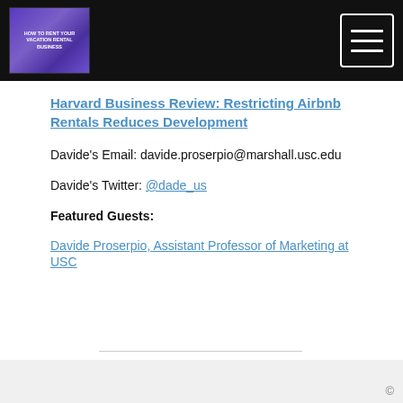[Figure (other): Black navigation header bar with a purple book cover image on the left and a hamburger menu icon button on the right]
Harvard Business Review: Restricting Airbnb Rentals Reduces Development
Davide's Email: davide.proserpio@marshall.usc.edu
Davide's Twitter: @dade_us
Featured Guests:
Davide Proserpio, Assistant Professor of Marketing at USC